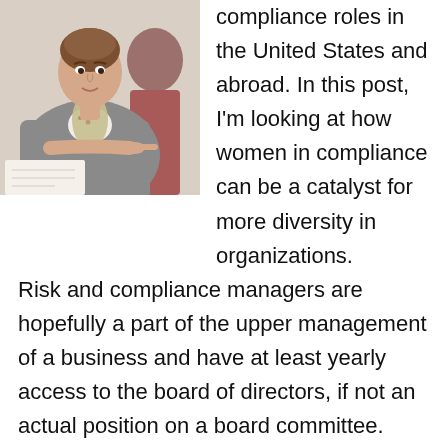[Figure (photo): A woman in a grey cardigan with a floral scarf, gesturing with her finger, another person in background with red top]
compliance roles in the United States and abroad. In this post, I'm looking at how women in compliance can be a catalyst for more diversity in organizations.
Risk and compliance managers are hopefully a part of the upper management of a business and have at least yearly access to the board of directors, if not an actual position on a board committee.
The board is not the only part of the business that should be tasked with creating a more diverse leadership team at the firm, though.
“It is the responsibility of all areas of the business to